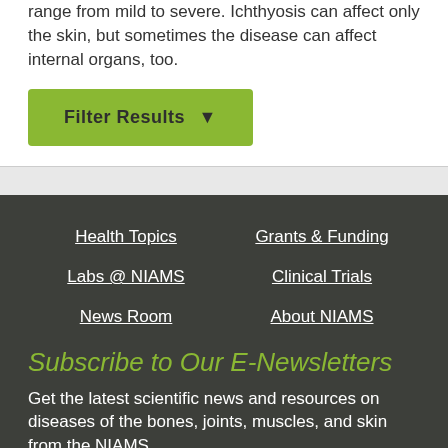range from mild to severe. Ichthyosis can affect only the skin, but sometimes the disease can affect internal organs, too.
Filter Results
Health Topics
Grants & Funding
Labs @ NIAMS
Clinical Trials
News Room
About NIAMS
Subscribe to Our E-Newsletters
Get the latest scientific news and resources on diseases of the bones, joints, muscles, and skin from the NIAMS